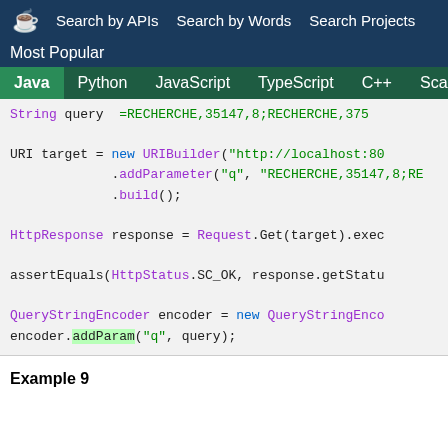Search by APIs   Search by Words   Search Projects   Most Popular
Java  Python  JavaScript  TypeScript  C++  Scala
[Figure (screenshot): Java code snippet showing URI target construction with URIBuilder, HttpResponse request, assertEquals, QueryStringEncoder, encoder.addParam, and wireMockRule.verify calls]
Example 9